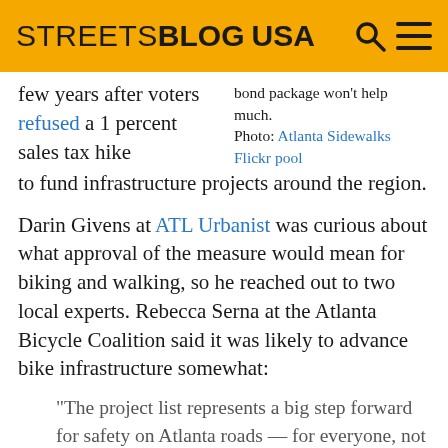STREETSBLOG USA
few years after voters refused a 1 percent sales tax hike to fund infrastructure projects around the region.
bond package won't help much. Photo: Atlanta Sidewalks Flickr pool
Darin Givens at ATL Urbanist was curious about what approval of the measure would mean for biking and walking, so he reached out to two local experts. Rebecca Serna at the Atlanta Bicycle Coalition said it was likely to advance bike infrastructure somewhat:
“The project list represents a big step forward for safety on Atlanta roads — for everyone, not just people on bikes, because streets that are safe enough to walk and bike have fewer motor vehicle crashes too. The big Complete Streets projects